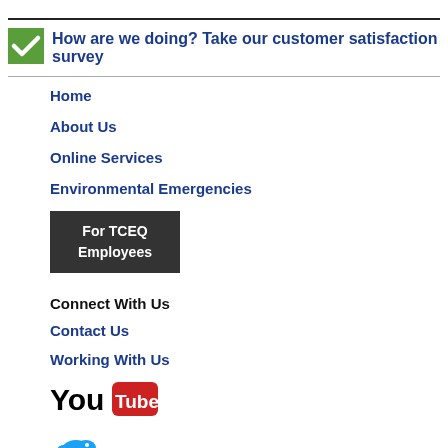How are we doing? Take our customer satisfaction survey
Home
About Us
Online Services
Environmental Emergencies
For TCEQ Employees
Connect With Us
Contact Us
Working With Us
[Figure (logo): YouTube logo]
[Figure (logo): Twitter bird logo]
[Figure (logo): RSS feed icon (partial)]